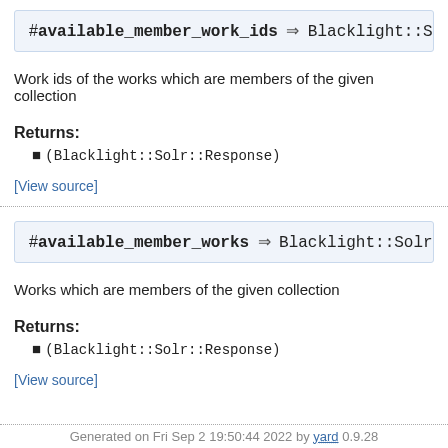#available_member_work_ids ⇒ Blacklight::Solr::Re...
Work ids of the works which are members of the given collection
Returns:
(Blacklight::Solr::Response)
[View source]
#available_member_works ⇒ Blacklight::Solr::Respo...
Works which are members of the given collection
Returns:
(Blacklight::Solr::Response)
[View source]
Generated on Fri Sep 2 19:50:44 2022 by yard 0.9.28